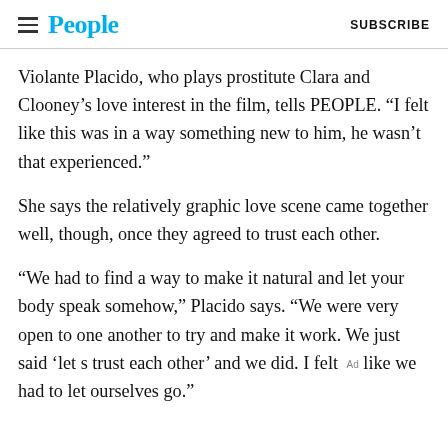People | SUBSCRIBE
Violante Placido, who plays prostitute Clara and Clooney’s love interest in the film, tells PEOPLE. “I felt like this was in a way something new to him, he wasn’t that experienced.”
She says the relatively graphic love scene came together well, though, once they agreed to trust each other.
“We had to find a way to make it natural and let your body speak somehow,” Placido says. “We were very open to one another to try and make it work. We just said ‘let s trust each other’ and we did. I felt like we had to let ourselves go.”